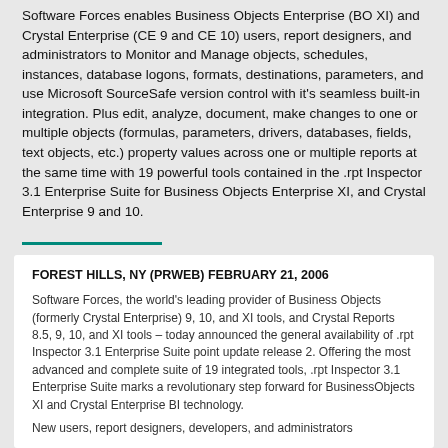Software Forces enables Business Objects Enterprise (BO XI) and Crystal Enterprise (CE 9 and CE 10) users, report designers, and administrators to Monitor and Manage objects, schedules, instances, database logons, formats, destinations, parameters, and use Microsoft SourceSafe version control with it's seamless built-in integration. Plus edit, analyze, document, make changes to one or multiple objects (formulas, parameters, drivers, databases, fields, text objects, etc.) property values across one or multiple reports at the same time with 19 powerful tools contained in the .rpt Inspector 3.1 Enterprise Suite for Business Objects Enterprise XI, and Crystal Enterprise 9 and 10.
FOREST HILLS, NY (PRWEB) FEBRUARY 21, 2006
Software Forces, the world's leading provider of Business Objects (formerly Crystal Enterprise) 9, 10, and XI tools, and Crystal Reports 8.5, 9, 10, and XI tools – today announced the general availability of .rpt Inspector 3.1 Enterprise Suite point update release 2. Offering the most advanced and complete suite of 19 integrated tools, .rpt Inspector 3.1 Enterprise Suite marks a revolutionary step forward for BusinessObjects XI and Crystal Enterprise BI technology.
New users, report designers, developers, and administrators